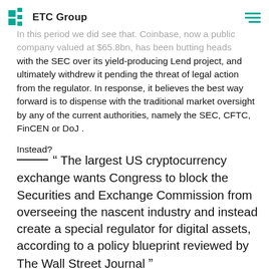ETC Group
In this period we did see that. Coinbase, now a public company valued at $65.8bn, has been butting heads with the SEC over its yield-producing Lend project, and ultimately withdrew it pending the threat of legal action from the regulator. In response, it believes the best way forward is to dispense with the traditional market oversight by any of the current authorities, namely the SEC, CFTC, FinCEN or DoJ .
Instead?
" The largest US cryptocurrency exchange wants Congress to block the Securities and Exchange Commission from overseeing the nascent industry and instead create a special regulator for digital assets, according to a policy blueprint reviewed by The Wall Street Journal "